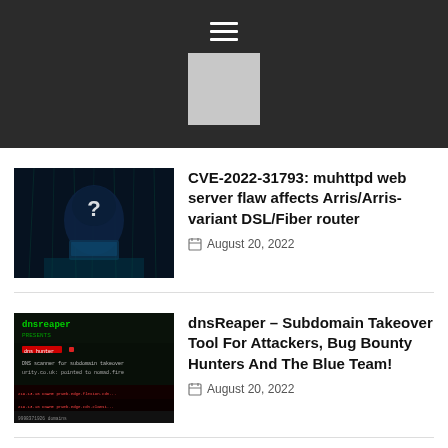Navigation menu / site logo placeholder
CVE-2022-31793: muhttpd web server flaw affects Arris/Arris-variant DSL/Fiber router
August 20, 2022
dnsReaper – Subdomain Takeover Tool For Attackers, Bug Bounty Hunters And The Blue Team!
August 20, 2022